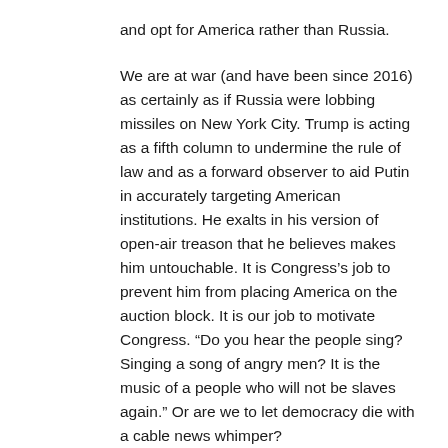and opt for America rather than Russia.
We are at war (and have been since 2016) as certainly as if Russia were lobbing missiles on New York City. Trump is acting as a fifth column to undermine the rule of law and as a forward observer to aid Putin in accurately targeting American institutions. He exalts in his version of open-air treason that he believes makes him untouchable. It is Congress’s job to prevent him from placing America on the auction block. It is our job to motivate Congress. “Do you hear the people sing? Singing a song of angry men? It is the music of a people who will not be slaves again.” Or are we to let democracy die with a cable news whimper?